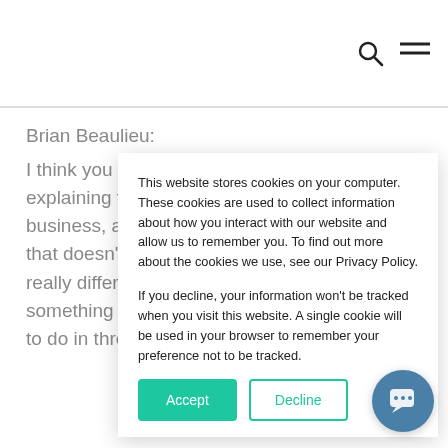[search icon] [menu icon]
Brian Beaulieu:
I think you did a great job in the book explaining that you can have a successful business, a successfully running business, but that doesn't mean it's ready for sale. Those are really different animals. And prepping something for sale isn't something you're going to do in three months because
This website stores cookies on your computer. These cookies are used to collect information about how you interact with our website and allow us to remember you. To find out more about the cookies we use, see our Privacy Policy.

If you decline, your information won't be tracked when you visit this website. A single cookie will be used in your browser to remember your preference not to be tracked.
Accept | Decline